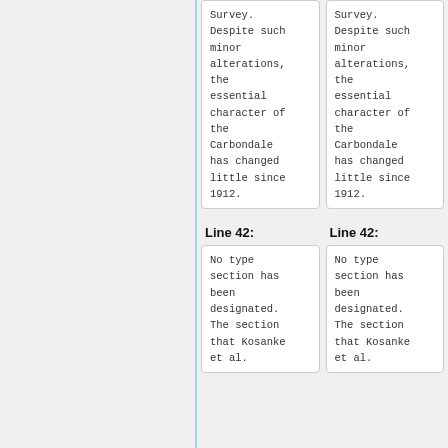Survey. Despite such minor alterations, the essential character of the Carbondale has changed little since 1912.
Survey. Despite such minor alterations, the essential character of the Carbondale has changed little since 1912.
Line 42:
Line 42:
No type section has been designated. The section that Kosanke et al.
No type section has been designated. The section that Kosanke et al.